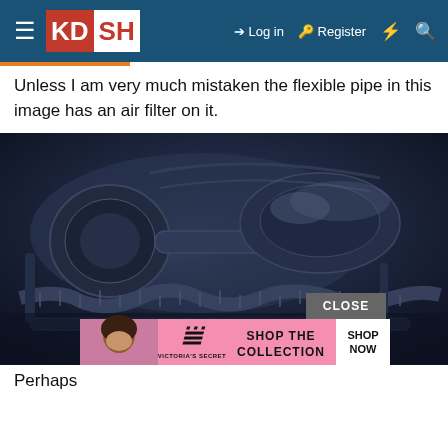KDSH — Log in  Register
Unless I am very much mistaken the flexible pipe in this image has an air filter on it.
[Figure (photo): Close-up photo of a car engine bay showing flexible pipes, air intake components, and engine parts in dark blue/monochrome tones. An advertisement overlay for Victoria's Secret with a CLOSE button is visible at the bottom of the image.]
Perhaps